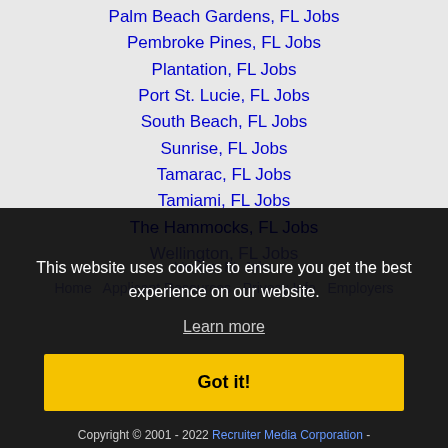Palm Beach Gardens, FL Jobs
Pembroke Pines, FL Jobs
Plantation, FL Jobs
Port St. Lucie, FL Jobs
South Beach, FL Jobs
Sunrise, FL Jobs
Tamarac, FL Jobs
Tamiami, FL Jobs
The Hammocks, FL Jobs
Wellington, FL Jobs
This website uses cookies to ensure you get the best experience on our website.
Learn more
Got it!
Copyright © 2001 - 2022 Recruiter Media Corporation -